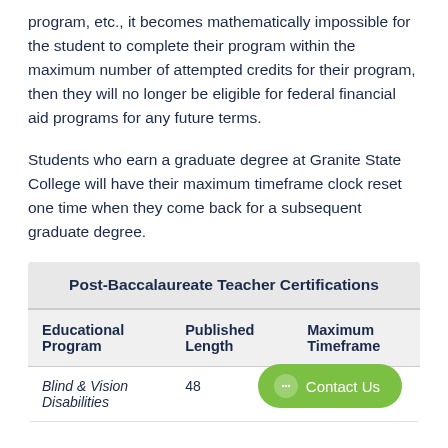program, etc., it becomes mathematically impossible for the student to complete their program within the maximum number of attempted credits for their program, then they will no longer be eligible for federal financial aid programs for any future terms.
Students who earn a graduate degree at Granite State College will have their maximum timeframe clock reset one time when they come back for a subsequent graduate degree.
| Educational Program | Published Length | Maximum Timeframe |
| --- | --- | --- |
| Blind & Vision Disabilities | 48 |  |